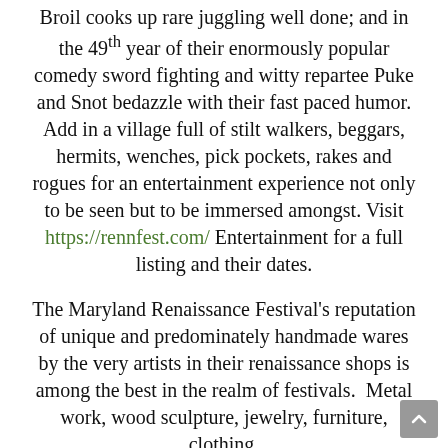Broil cooks up rare juggling well done; and in the 49th year of their enormously popular comedy sword fighting and witty repartee Puke and Snot bedazzle with their fast paced humor. Add in a village full of stilt walkers, beggars, hermits, wenches, pick pockets, rakes and rogues for an entertainment experience not only to be seen but to be immersed amongst. Visit https://rennfest.com/ Entertainment for a full listing and their dates.
The Maryland Renaissance Festival's reputation of unique and predominately handmade wares by the very artists in their renaissance shops is among the best in the realm of festivals.  Metal work, wood sculpture, jewelry, furniture, clothing,